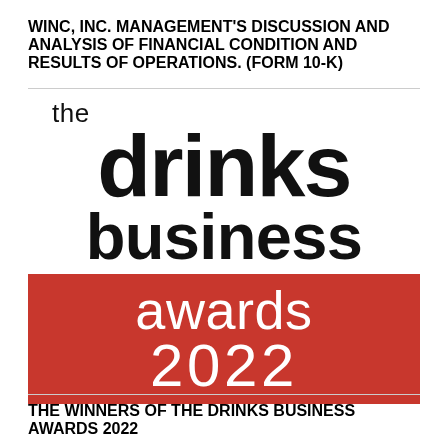WINC, INC. MANAGEMENT'S DISCUSSION AND ANALYSIS OF FINANCIAL CONDITION AND RESULTS OF OPERATIONS. (FORM 10-K)
[Figure (logo): The Drinks Business Awards 2022 logo. Black sans-serif text 'the drinks business' on white background, with 'awards 2022' in white text on a red rectangle background.]
THE WINNERS OF THE DRINKS BUSINESS AWARDS 2022